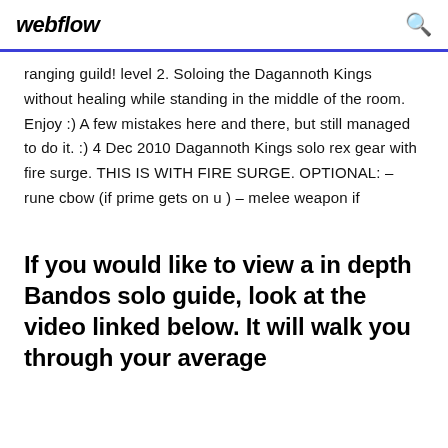webflow
ranging guild! level 2. Soloing the Dagannoth Kings without healing while standing in the middle of the room. Enjoy :) A few mistakes here and there, but still managed to do it. :) 4 Dec 2010 Dagannoth Kings solo rex gear with fire surge. THIS IS WITH FIRE SURGE. OPTIONAL: – rune cbow (if prime gets on u ) – melee weapon if
If you would like to view a in depth Bandos solo guide, look at the video linked below. It will walk you through your average